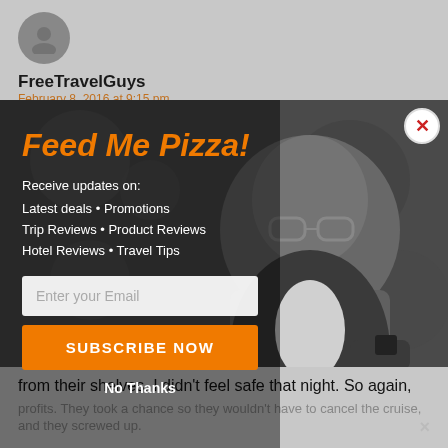[Figure (screenshot): Blog page background showing profile icon, author name FreeTravelGuys, date February 8, 2016 at 9:15 pm]
FreeTravelGuys
February 8, 2016 at 9:15 pm
[Figure (screenshot): Email subscription modal popup overlay with grayscale photo of a man wearing glasses. Modal contains title Feed Me Pizza!, subscription info text, email input field, Subscribe Now button, and No Thanks link. A close button (red X) is in the top right corner.]
Feed Me Pizza!
Receive updates on:
Latest deals • Promotions
Trip Reviews • Product Reviews
Hotel Reviews • Travel Tips
Enter your Email
SUBSCRIBE NOW
No Thanks
from their shelves. I didn't feel safe that night. So again,
profits. They took a chance so they wouldn't have to cancel the cruise, and they screwed up.